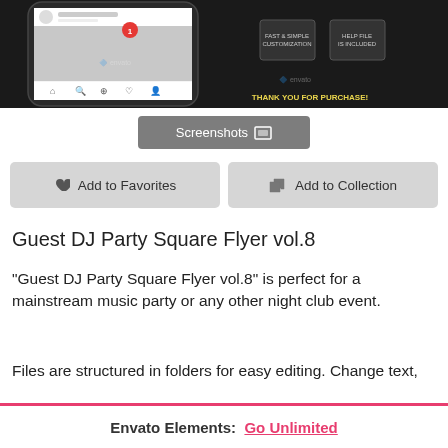[Figure (screenshot): Dark promotional mockup image showing a phone with Instagram UI and 'THANK YOU FOR PURCHASE!' text with fast customization icons]
Screenshots
Add to Favorites
Add to Collection
Guest DJ Party Square Flyer vol.8
“Guest DJ Party Square Flyer vol.8” is perfect for a mainstream music party or any other night club event.
Files are structured in folders for easy editing. Change text,
Envato Elements:  Go Unlimited